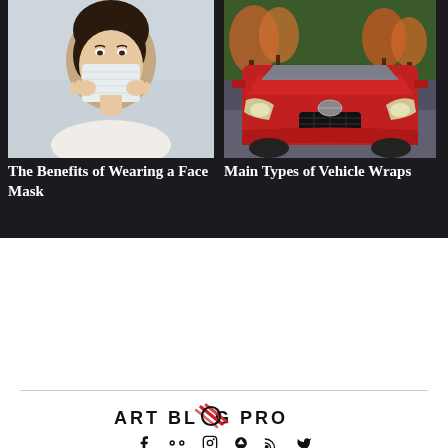[Figure (photo): Woman wearing a white face mask, holding it with both hands, dark hair, white outfit]
The Benefits of Wearing a Face Mask
[Figure (photo): Red sports car (Nissan GT-R) front view on a road with autumn trees in background]
Main Types of Vehicle Wraps
[Figure (logo): Art Blog Pro logo with diagonal red brush stroke marks through the letter O]
f  •• Instagram Pinterest RSS Twitter social icons